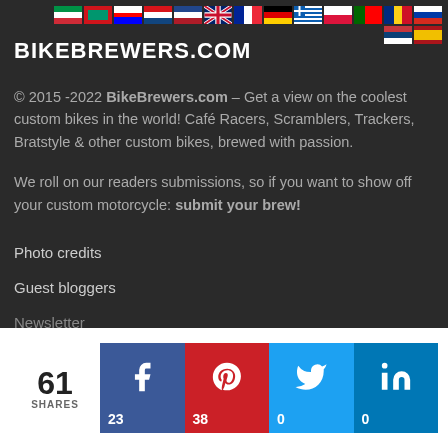[Figure (other): Row of country flags (Italy, Bulgaria, Croatia, Czech Republic, Netherlands, UK, France, Germany, Greece, Poland, Portugal, Romania, Russia, Serbia, Spain) arranged in two rows at top right]
BIKEBREWERS.COM
© 2015 -2022 BikeBrewers.com – Get a view on the coolest custom bikes in the world! Café Racers, Scramblers, Trackers, Bratstyle & other custom bikes, brewed with passion.
We roll on our readers submissions, so if you want to show off your custom motorcycle: submit your brew!
Photo credits
Guest bloggers
Newsletter
[Figure (infographic): Social share bar with 61 total shares. Facebook (blue): 23 shares, Pinterest (red): 38 shares, Twitter (light blue): 0 shares, LinkedIn (blue): 0 shares]